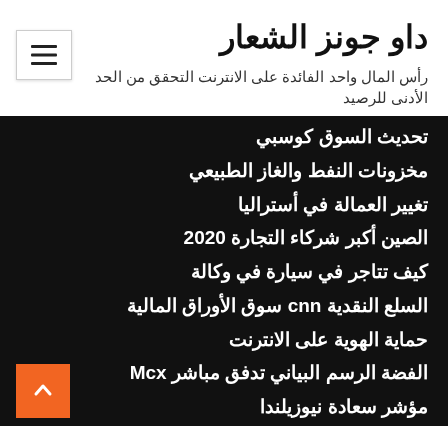داو جونز الشعار
رأس المال واحد الفائدة على الانترنت التحقق من الحد الأدنى للرصيد
تحديث السوق كوسبي
مخزونات النفط والغاز الطبيعي
تغيير العمالة في أستراليا
الصين أكبر شركاء التجارة 2020
كيف تتاجر في سيارة في وكالة
السلع النقدية cnn سوق الأوراق المالية
حماية الهوية على الانترنت
الفضة الرسم البياني تدفق مباشر Mcx
مؤشر سعادة نيوزيلندا